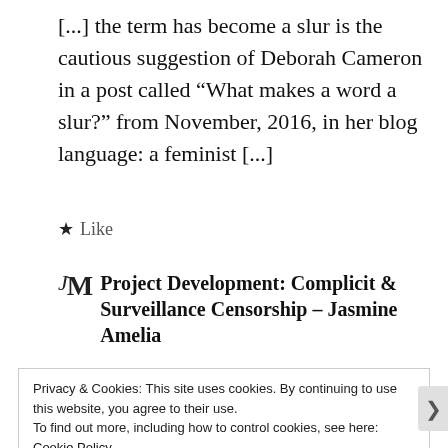[...] the term has become a slur is the cautious suggestion of Deborah Cameron in a post called “What makes a word a slur?” from November, 2016, in her blog language: a feminist [...]
★ Like
[Figure (logo): JM monogram logo with italic J superscript and bold M]
Project Development: Complicit & Surveillance Censorship – Jasmine Amelia
Privacy & Cookies: This site uses cookies. By continuing to use this website, you agree to their use.
To find out more, including how to control cookies, see here:
Cookie Policy
Close and accept